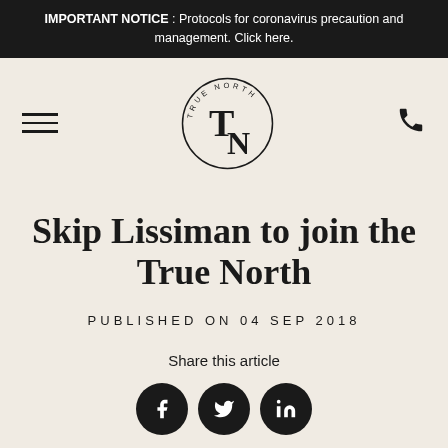IMPORTANT NOTICE: Protocols for coronavirus precaution and management. Click here.
[Figure (logo): True North logo — circular text 'TRUE NORTH' around large 'TN' monogram]
Skip Lissiman to join the True North
PUBLISHED ON 04 SEP 2018
Share this article
[Figure (infographic): Three circular social media share buttons: Facebook (f), Twitter (bird), LinkedIn (in)]